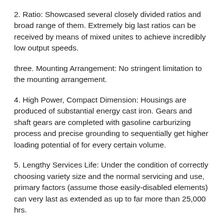2. Ratio: Showcased several closely divided ratios and broad range of them. Extremely big last ratios can be received by means of mixed unites to achieve incredibly low output speeds.
three. Mounting Arrangement: No stringent limitation to the mounting arrangement.
4. High Power, Compact Dimension: Housings are produced of substantial energy cast iron. Gears and shaft gears are completed with gasoline carburizing process and precise grounding to sequentially get higher loading potential of for every certain volume.
5. Lengthy Services Life: Under the condition of correctly choosing variety size and the normal servicing and use, primary factors (assume those easily-disabled elements) can very last as extended as up to far more than 25,000 hrs.